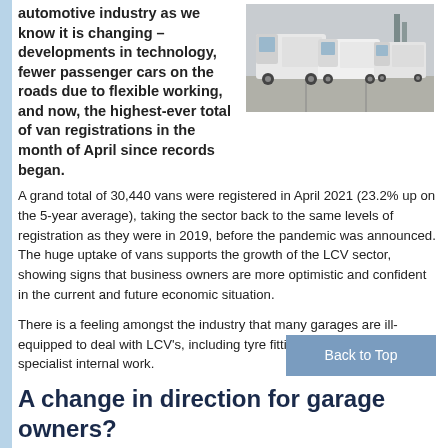automotive industry as we know it is changing – developments in technology, fewer passenger cars on the roads due to flexible working, and now, the highest-ever total of van registrations in the month of April since records began.
[Figure (photo): Three white vans parked in a parking area outdoors]
A grand total of 30,440 vans were registered in April 2021 (23.2% up on the 5-year average), taking the sector back to the same levels of registration as they were in 2019, before the pandemic was announced. The huge uptake of vans supports the growth of the LCV sector, showing signs that business owners are more optimistic and confident in the current and future economic situation.
There is a feeling amongst the industry that many garages are ill-equipped to deal with LCV's, including tyre fitting, bodywork and specialist internal work.
A change in direction for garage owners?